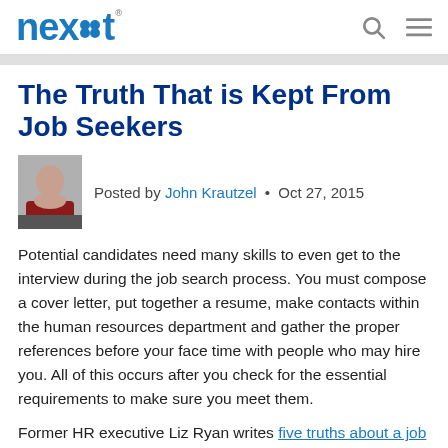nexxt [logo] [search icon] [menu icon]
The Truth That is Kept From Job Seekers
Posted by John Krautzel • Oct 27, 2015
Potential candidates need many skills to even get to the interview during the job search process. You must compose a cover letter, put together a resume, make contacts within the human resources department and gather the proper references before your face time with people who may hire you. All of this occurs after you check for the essential requirements to make sure you meet them.
Former HR executive Liz Ryan writes five truths about a job search that no one tells job seekers. Instead of paying attention to outdated job skills or obsessing over every single requirement of the position, she encourages job